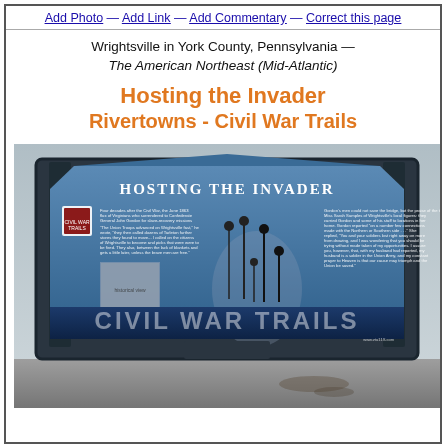Add Photo — Add Link — Add Commentary — Correct this page
Wrightsville in York County, Pennsylvania — The American Northeast (Mid-Atlantic)
Hosting the Invader Rivertowns - Civil War Trails
[Figure (photo): Photograph of a Civil War Trails interpretive marker for 'Hosting the Invader' located in Wrightsville, Pennsylvania. The blue sign shows historical text and an illustration of people, with 'CIVIL WAR TRAILS' in large letters at the bottom.]